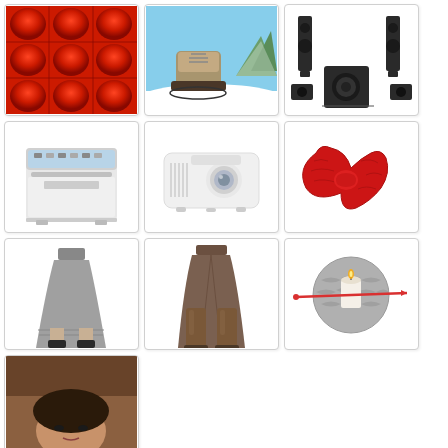[Figure (photo): Red fluffy quilted fabric or blanket, close-up texture]
[Figure (photo): Hiking/snowshoe boots on snow with mountain winter landscape background]
[Figure (photo): Home theater speaker system with subwoofer and satellite speakers on white background]
[Figure (photo): White countertop dishwasher appliance on white background]
[Figure (photo): White projector (Epson style) on white background]
[Figure (photo): Red knitted scarf on white background]
[Figure (photo): Woman wearing a gray pleated skirt with black ankle boots]
[Figure (photo): Woman wearing a brown/taupe skirt with tall brown boots]
[Figure (photo): Gray knitted wool ball or scarf with a knitting needle through it]
[Figure (photo): Woman's face/portrait, partially visible at bottom of page]